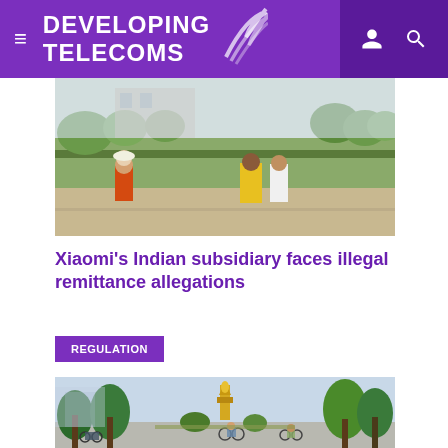DEVELOPING TELECOMS
[Figure (photo): People walking on a street in India, with greenery and buildings in the background]
Xiaomi's Indian subsidiary faces illegal remittance allegations
REGULATION
[Figure (photo): Street scene in Cambodia with cyclists, trees, and a golden stupa/monument visible in the background]